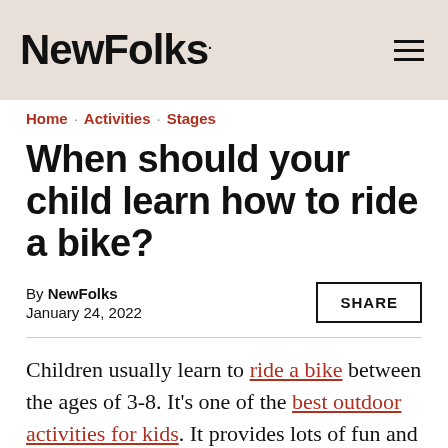NewFolks
Home · Activities · Stages
When should your child learn how to ride a bike?
By NewFolks
January 24, 2022
SHARE
Children usually learn to ride a bike between the ages of 3-8. It's one of the best outdoor activities for kids. It provides lots of fun and increases the bond between